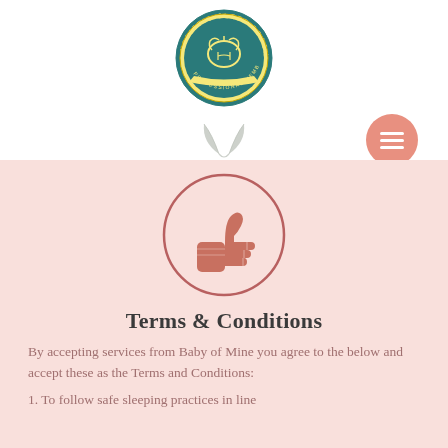[Figure (logo): Holistic Sleep Coach circular logo with brain illustration in teal and gold]
[Figure (illustration): Two gray decorative leaf/feather icons centered in navigation bar]
[Figure (illustration): Salmon/pink circular hamburger menu button with three horizontal lines]
[Figure (illustration): Thumbs up icon in a circle, drawn in brownish-red outline style on pink background]
Terms & Conditions
By accepting services from Baby of Mine you agree to the below and accept these as the Terms and Conditions:
1. To follow safe sleeping practices in line